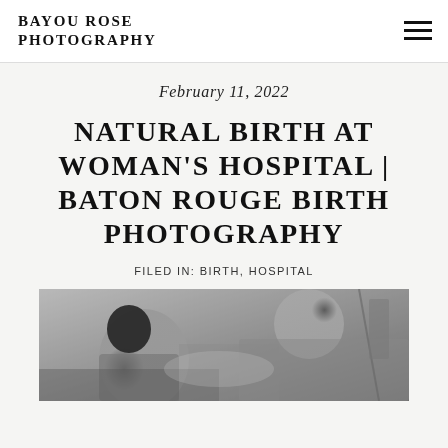BAYOU ROSE PHOTOGRAPHY
February 11, 2022
NATURAL BIRTH AT WOMAN’S HOSPITAL | BATON ROUGE BIRTH PHOTOGRAPHY
FILED IN: BIRTH, HOSPITAL
[Figure (photo): Black and white photograph showing a person with dark hair in a hospital setting, viewed from above/side angle]